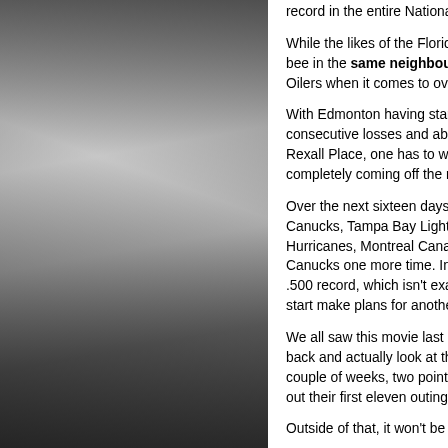[Figure (photo): Left panel: dark stone/rock texture background image, gray tones]
record in the entire National Hockey League.
While the likes of the Florida Panthers and New York Islanders have also bee in the same neighbourhood, no one has been has inept as the Oilers when it comes to overall futility in their home barn.
With Edmonton having started their 2014-15 campaign with four consecutive losses and about to embark on stretch of seven straight at Rexall Place, one has to wonder if this season is on the verge of completely coming off the rails.
Over the next sixteen days, Dallas Eakins' crew will face the Vancouver Canucks, Tampa Bay Lightning, Washington Capitals, Carolina Hurricanes, Montreal Canadiens, Nashville Predators and the hated Canucks one more time. In all honesty, if this group is unable to secure a .500 record, which isn't exactly hitting it out of the park, they may as well start make plans for another lottery pick in the 2015 NHL Entry Draft.
We all saw this movie last October and it did not end very well. If you sit back and actually look at the teams the Oilers will be facing over the next couple of weeks, two points and one would think they will get something out their first eleven outings.
Outside of that, it won't be easy for a team that has produced t
2013-14: (16-22-3)
[Figure (photo): Right side: photo of a hockey coach/official in dark green jacket looking sideways, crowd in background; small text overlay at bottom of photo]
With their homestand chance. record. T pick at th